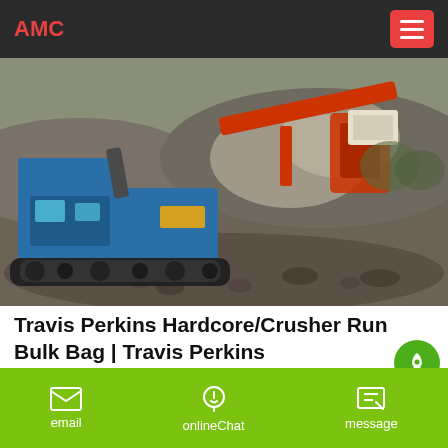AMC
[Figure (photo): A blue tracked mobile crusher machine operating at a quarry site, processing aggregate material with dust visible in the background.]
Travis Perkins Hardcore/Crusher Run Bulk Bag | Travis Perkins
Hardcore crusher run is a mix of products for sub bases, can
email   onlineChat   message